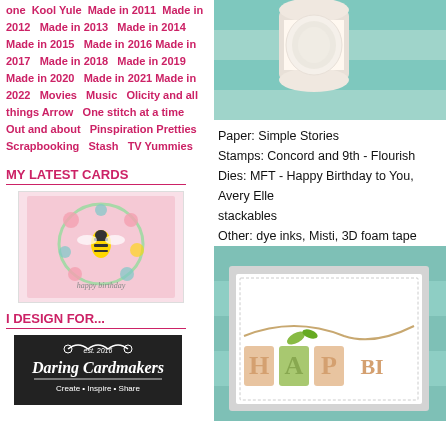one  Kool Yule  Made in 2011  Made in 2012  Made in 2013  Made in 2014  Made in 2015  Made in 2016  Made in 2017  Made in 2018  Made in 2019  Made in 2020  Made in 2021  Made in 2022  Movies  Music  Olicity and all things Arrow  One stitch at a time  Out and about  Pinspiration  Pretties  Scrapbooking  Stash  TV  Yummies
MY LATEST CARDS
[Figure (photo): Handmade card with bee and floral wreath design, text reads 'happy birthday']
I DESIGN FOR...
[Figure (logo): Daring Cardmakers logo - black background with decorative scrollwork, est. 2016, subtitle Create Inspire Share]
[Figure (photo): Close up of craft supplies - white string/thread spool on teal/mint background]
Paper: Simple Stories
Stamps: Concord and 9th - Flourish
Dies: MFT - Happy Birthday to You, Avery Elle stackables
Other: dye inks, Misti, 3D foam tape
[Figure (photo): Close up of Happy Birthday card with gold and green dimensional letters on teal/mint wood background]